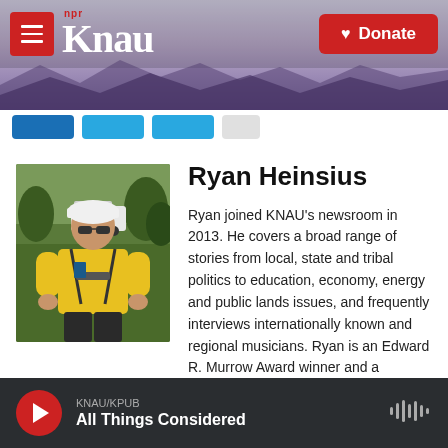[Figure (screenshot): KNAU NPR radio station website header with mountain background, hamburger menu button, KNAU logo, and red Donate button]
[Figure (photo): Ryan Heinsius wearing a yellow shirt, hard hat, and safety harness, outdoors with trees in the background]
Ryan Heinsius
Ryan joined KNAU's newsroom in 2013. He covers a broad range of stories from local, state and tribal politics to education, economy, energy and public lands issues, and frequently interviews internationally known and regional musicians. Ryan is an Edward R. Murrow Award winner and a frequent contributor to NPR.
See stories by Ryan Heinsius
KNAU/KPUB
All Things Considered